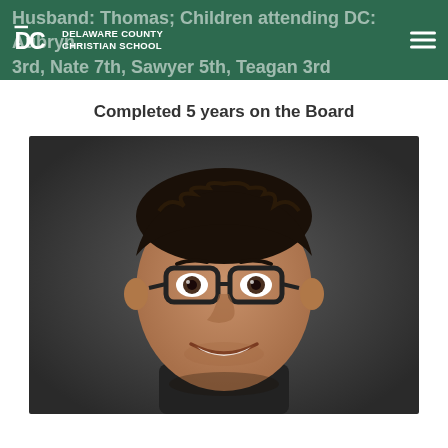Husband: Thomas; Children attending DC: Aubryn 3rd, Nate 7th, Sawyer 5th, Teagan 3rd
Completed 5 years on the Board
[Figure (photo): Headshot of a smiling man with dark hair, dark-rimmed glasses, wearing a dark shirt, against a dark grey background.]